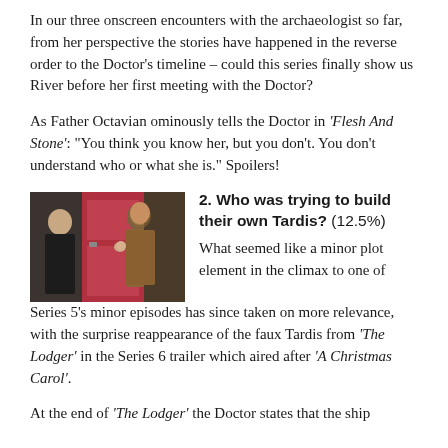In our three onscreen encounters with the archaeologist so far, from her perspective the stories have happened in the reverse order to the Doctor’s timeline – could this series finally show us River before her first meeting with the Doctor?
As Father Octavian ominously tells the Doctor in ‘Flesh And Stone’: “You think you know her, but you don’t. You don’t understand who or what she is.” Spoilers!
[Figure (photo): Two men standing in front of a red door; one in dark clothing on the left, one in a brown jacket on the right looking up.]
2. Who was trying to build their own Tardis? (12.5%)
What seemed like a minor plot element in the climax to one of Series 5’s minor episodes has since taken on more relevance, with the surprise reappearance of the faux Tardis from ‘The Lodger’ in the Series 6 trailer which aired after ‘A Christmas Carol’.
At the end of ‘The Lodger’ the Doctor states that the ship